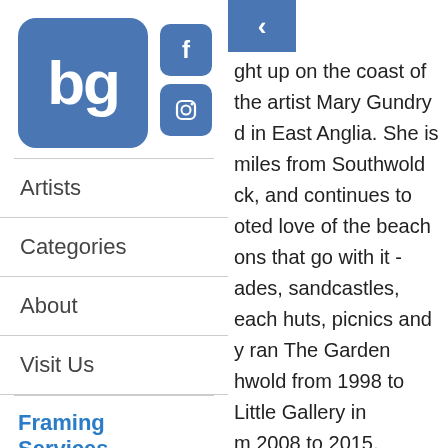[Figure (logo): Blue rounded square logo with 'bg' text in white, alongside Facebook and Instagram social media icons]
Artists
Categories
About
Visit Us
Framing Services
We now offer framing services. Please contact
[Figure (screenshot): Navigation back button (left chevron) on blue background]
ght up on the coast of the artist Mary Gundry d in East Anglia. She is miles from Southwold ck, and continues to oted love of the beach ons that go with it - ades, sandcastles, each huts, picnics and y ran The Garden hwold from 1998 to Little Gallery in m 2008 to 2015. k in watercolours or oil speciality. Mary also